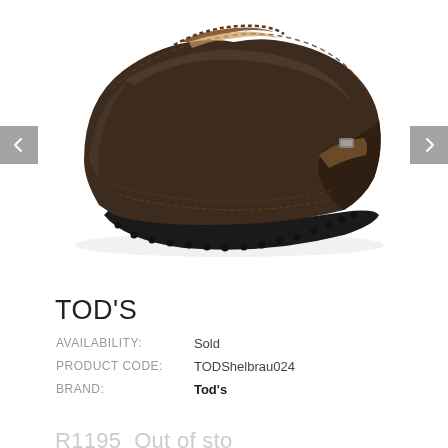[Figure (photo): A dark brown leather Tod's ballet flat shoe with rubber pebble sole, shown on a white background with left and right navigation arrow buttons on either side.]
TOD'S
| AVAILABILITY: | Sold |
| PRODUCT CODE: | TODShelbrau024 |
| BRAND: | Tod's |
R1195 Out of stock